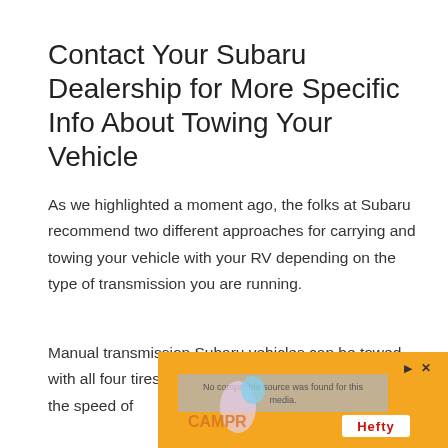Contact Your Subaru Dealership for More Specific Info About Towing Your Vehicle
As we highlighted a moment ago, the folks at Subaru recommend two different approaches for carrying and towing your vehicle with your RV depending on the type of transmission you are running.
Manual transmission Subaru vehicles can be towed with all four tires on the ground running free to match the speed of
[Figure (other): An advertisement overlay with orange background (Hefty brand), showing a video player error message 'No compatible source was found for this media.' with play/close controls and Hefty logo.]